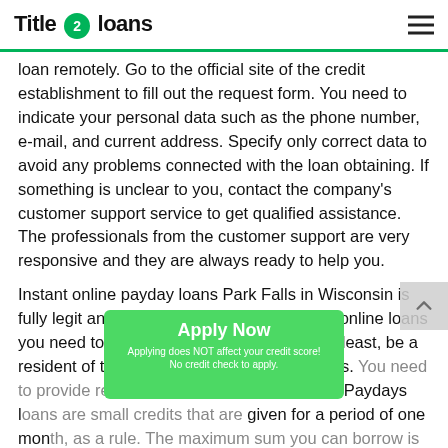Title 2 loans
loan remotely. Go to the official site of the credit establishment to fill out the request form. You need to indicate your personal data such as the phone number, e-mail, and current address. Specify only correct data to avoid any problems connected with the loan obtaining. If something is unclear to you, contact the company's customer support service to get qualified assistance. The professionals from the customer support are very responsive and they are always ready to help you.
Instant online payday loans Park Falls in Wisconsin is fully legit and controlled by state law. To get online loans you need to meet some demands - be 18 at least, be a resident of the USA and have stable earnings. You need to provide relevant documents to get a loan. Paydays loans are small credits that are given for a period of one month, as a rule. The maximum sum you can borrow is usually up to 500$. So, take this into account before you qualify for the credit.
[Figure (other): Apply Now button overlay with green background, bold white text reading 'Apply Now', subtext 'Applying does NOT affect your credit score!' and 'No credit check to apply.']